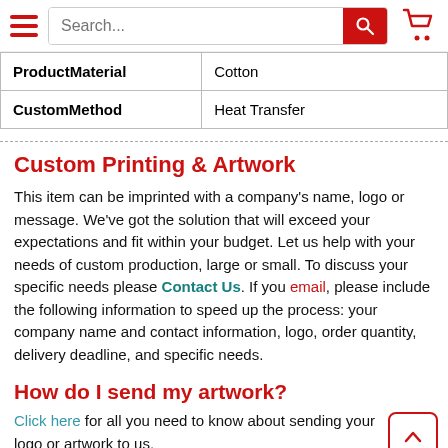Navigation bar with hamburger menu, search box, and cart icon
| ProductMaterial | Cotton |
| CustomMethod | Heat Transfer |
Custom Printing & Artwork
This item can be imprinted with a company's name, logo or message. We've got the solution that will exceed your expectations and fit within your budget. Let us help with your needs of custom production, large or small. To discuss your specific needs please Contact Us. If you email, please include the following information to speed up the process: your company name and contact information, logo, order quantity, delivery deadline, and specific needs.
How do I send my artwork?
Click here for all you need to know about sending your logo or artwork to us.
Need more information?
Some of our staff